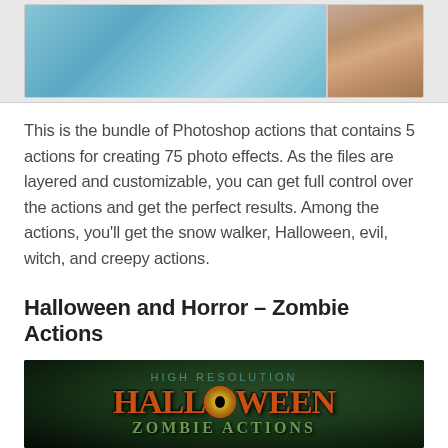[Figure (photo): Top strip image showing two photos: left side shows a blue snowy/icy texture, right side shows a muscular person's back]
This is the bundle of Photoshop actions that contains 5 actions for creating 75 photo effects. As the files are layered and customizable, you can get full control over the actions and get the perfect results. Among the actions, you’ll get the snow walker, Halloween, evil, witch, and creepy actions.
Halloween and Horror – Zombie Actions
[Figure (photo): Dark Halloween-themed promotional image with text: HIGH RESOLUTION at top, large HALLOWEEN text with an eye replacing the O, and ZOMBIE ACTIONS below, on a dark green/black background]